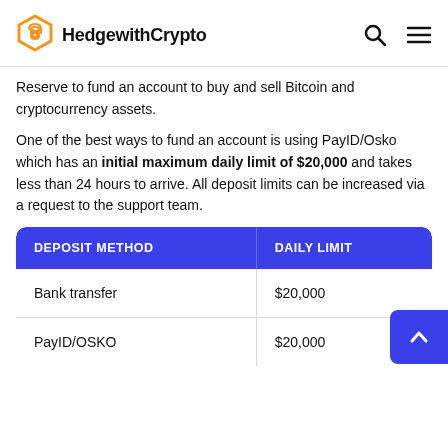HedgewithCrypto
Reserve to fund an account to buy and sell Bitcoin and cryptocurrency assets.
One of the best ways to fund an account is using PayID/Osko which has an initial maximum daily limit of $20,000 and takes less than 24 hours to arrive. All deposit limits can be increased via a request to the support team.
| DEPOSIT METHOD | DAILY LIMIT |
| --- | --- |
| Bank transfer | $20,000 |
| PayID/OSKO | $20,000 |